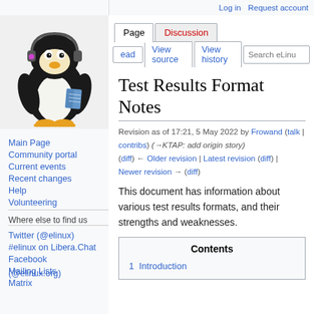Log in  Request account
[Figure (illustration): Tux the Linux penguin mascot wearing headphones and holding a book, on a light gray background]
Main Page
Community portal
Current events
Recent changes
Help
Volunteering
Where else to find us
Twitter (@elinux)
#elinux on Libera.Chat
Facebook (@elinux.org)
Mailing Lists
Matrix
Test Results Format Notes
Revision as of 17:21, 5 May 2022 by Frowand (talk | contribs) (→KTAP: add origin story) (diff) ← Older revision | Latest revision (diff) | Newer revision → (diff)
This document has information about various test results formats, and their strengths and weaknesses.
Contents
1  Introduction